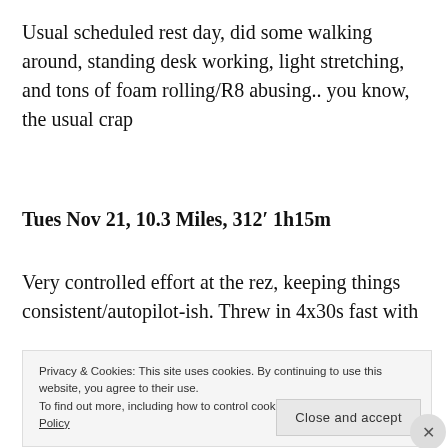Usual scheduled rest day, did some walking around, standing desk working, light stretching, and tons of foam rolling/R8 abusing.. you know, the usual crap
Tues Nov 21, 10.3 Miles, 312′ 1h15m
Very controlled effort at the rez, keeping things consistent/autopilot-ish. Threw in 4x30s fast with
Privacy & Cookies: This site uses cookies. By continuing to use this website, you agree to their use.
To find out more, including how to control cookies, see here: Cookie Policy
Close and accept